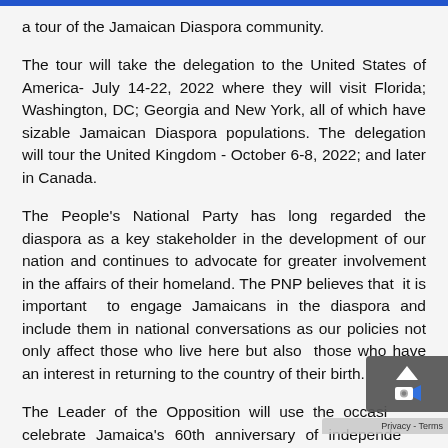a tour of the Jamaican Diaspora community.
The tour will take the delegation to the United States of America- July 14-22, 2022 where they will visit Florida; Washington, DC; Georgia and New York, all of which have sizable Jamaican Diaspora populations. The delegation will tour the United Kingdom - October 6-8, 2022; and later in Canada.
The People's National Party has long regarded the diaspora as a key stakeholder in the development of our nation and continues to advocate for greater involvement in the affairs of their homeland. The PNP believes that it is important to engage Jamaicans in the diaspora and include them in national conversations as our policies not only affect those who live here but also those who have an interest in returning to the country of their birth.
The Leader of the Opposition will use the occasion to celebrate Jamaica's 60th anniversary of independence with all Jamaicans in the Diaspora, to praise their